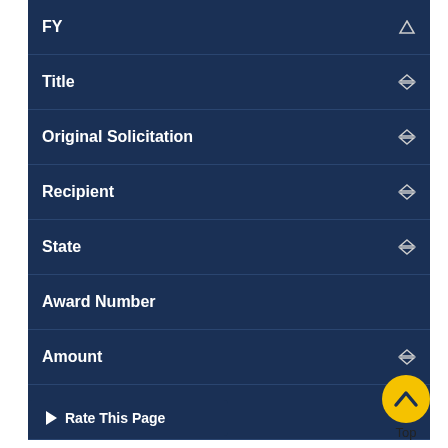| FY | Title | Original Solicitation | Recipient | State | Award Number | Amount | Status |
| --- | --- | --- | --- | --- | --- | --- | --- |
| 2005-DA-BX-K104 |
Rate This Page
Top